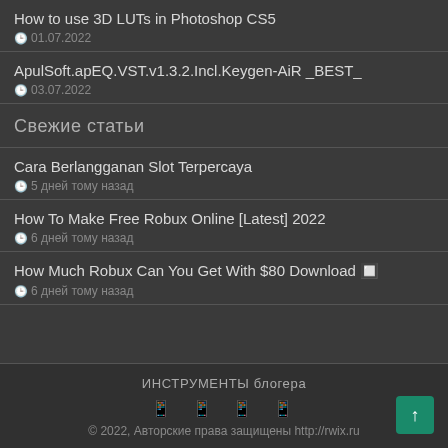How to use 3D LUTs in Photoshop CS5
01.07.2022
ApulSoft.apEQ.VST.v1.3.2.Incl.Keygen-AiR _BEST_
03.07.2022
Свежие статьи
Cara Berlangganan Slot Terpercaya
5 дней тому назад
How To Make Free Robux Online [Latest] 2022
6 дней тому назад
How Much Robux Can You Get With $80 Download 🔲
6 дней тому назад
ИНСТРУМЕНТЫ блогера
© 2022, Авторские права защищены http://rwix.ru